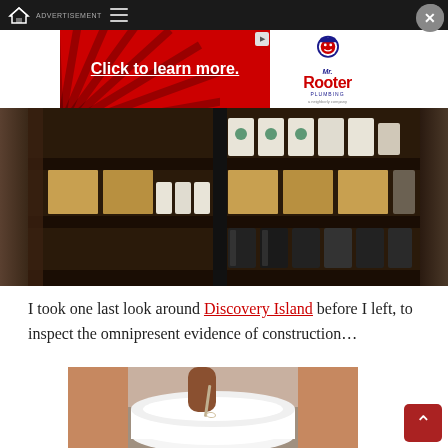ADVERTISEMENT
[Figure (photo): Advertisement banner: red background with 'Click to learn more.' text and Mr. Rooter Plumbing logo]
[Figure (photo): Starbucks merchandise shelf with cups and boxes displayed on dark wooden shelves]
I took one last look around Discovery Island before I left, to inspect the omnipresent evidence of construction…
[Figure (photo): Person holding a spoon over a white bowl, scooping a white powdery substance]